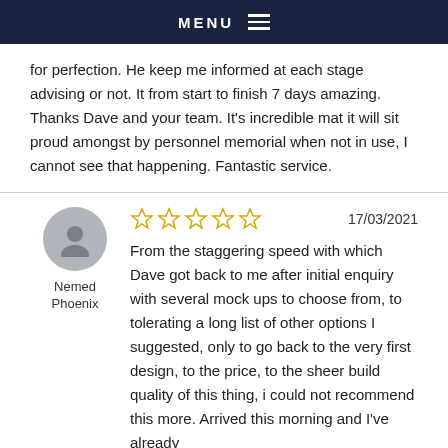MENU
for perfection. He keep me informed at each stage advising or not. It from start to finish 7 days amazing. Thanks Dave and your team. It's incredible mat it will sit proud amongst by personnel memorial when not in use, I cannot see that happening. Fantastic service.
Nemed Phoenix — 17/03/2021 — 5 stars — From the staggering speed with which Dave got back to me after initial enquiry with several mock ups to choose from, to tolerating a long list of other options I suggested, only to go back to the very first design, to the price, to the sheer build quality of this thing, i could not recommend this more. Arrived this morning and I've already